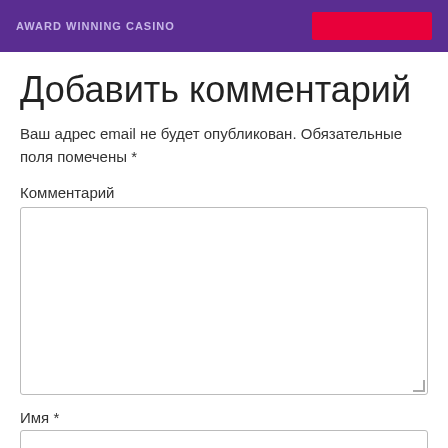[Figure (screenshot): Purple casino website banner with text 'AWARD WINNING CASINO' and a red button on the right]
Добавить комментарий
Ваш адрес email не будет опубликован. Обязательные поля помечены *
Комментарий
Имя *